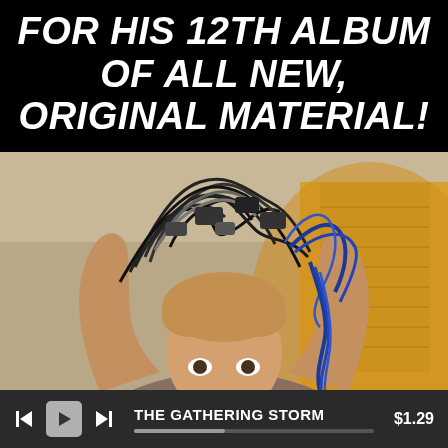FOR HIS 12TH ALBUM OF ALL NEW, ORIGINAL MATERIAL!
[Figure (photo): Person holding a large tangled mass of cables and cords above their head, looking overwhelmed. Indoor setting with warm lighting and window blinds visible.]
THE GATHERING STORM   $1.29